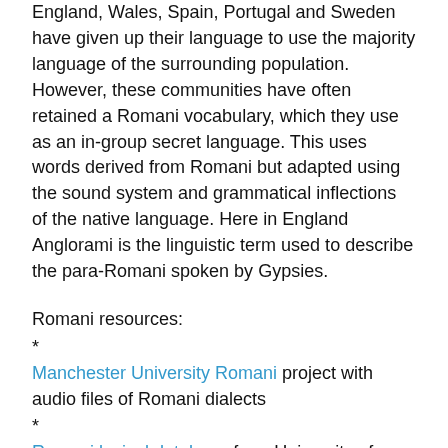England, Wales, Spain, Portugal and Sweden have given up their language to use the majority language of the surrounding population. However, these communities have often retained a Romani vocabulary, which they use as an in-group secret language. This uses words derived from Romani but adapted using the sound system and grammatical inflections of the native language. Here in England Anglorami is the linguistic term used to describe the para-Romani spoken by Gypsies.
Romani resources:
* Manchester University Romani project with audio files of Romani dialects
* Romani lexical database from University of Graz
* English Romani dictionary
* Future performances of Killimengro - this is an important piece of theatre, I urge you to see it. And I would encourage the many US arts organisations that read this blog to explore ways of bringing it to the audience it deserves across the Atlantic.